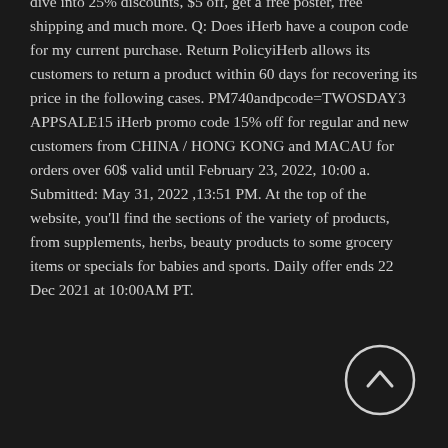dive into 25% discounts, $5 off, get a free poster, free shipping and much more. Q: Does iHerb have a coupon code for my current purchase. Return PolicyiHerb allows its customers to return a product within 60 days for recovering its price in the following cases. PM740andpcode=TWOSDAY3 APPSALE15 iHerb promo code 15% off for regular and new customers from CHINA / HONG KONG and MACAU for orders over 60$ valid until February 23, 2022, 10:00 a. Submitted: May 31, 2022 ,13:51 PM. At the top of the website, you'll find the sections of the variety of products, from supplements, herbs, beauty products to some grocery items or specials for babies and sports. Daily offer ends 22 Dec 2021 at 10:00AM PT.
[Figure (other): A circular scroll-to-top button with an upward arrow icon, white circle outline on dark background]